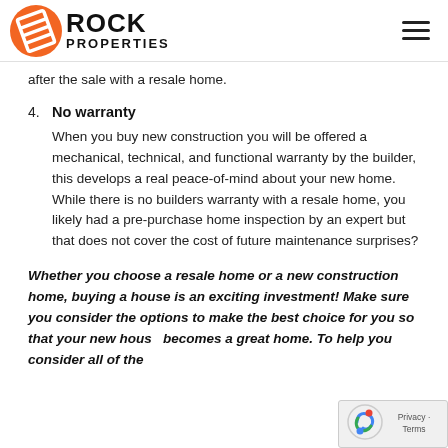Rock Properties
after the sale with a resale home.
4. No warranty
When you buy new construction you will be offered a mechanical, technical, and functional warranty by the builder, this develops a real peace-of-mind about your new home. While there is no builders warranty with a resale home, you likely had a pre-purchase home inspection by an expert but that does not cover the cost of future maintenance surprises?
Whether you choose a resale home or a new construction home, buying a house is an exciting investment! Make sure you consider the options to make the best choice for you so that your new house becomes a great home. To help you consider all of the